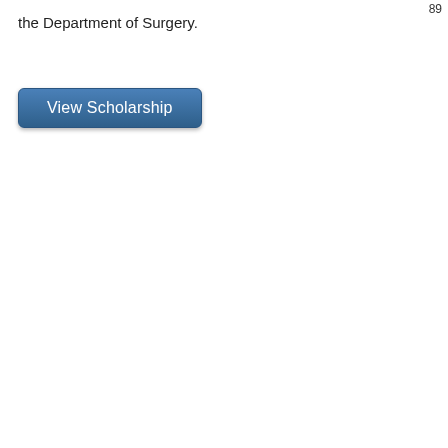89
the Department of Surgery.
[Figure (other): A blue rounded button labeled 'View Scholarship']